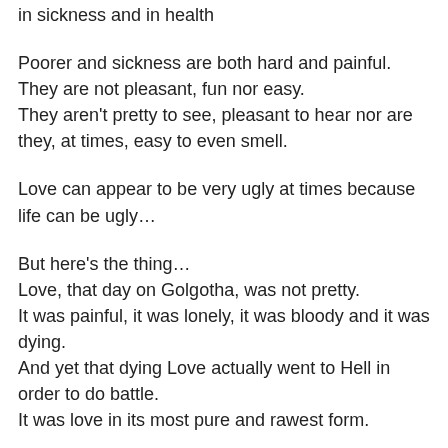in sickness and in health
Poorer and sickness are both hard and painful.
They are not pleasant, fun nor easy.
They aren't pretty to see, pleasant to hear nor are they, at times, easy to even smell.
Love can appear to be very ugly at times because life can be ugly…
But here's the thing…
Love, that day on Golgotha, was not pretty.
It was painful, it was lonely, it was bloody and it was dying.
And yet that dying Love actually went to Hell in order to do battle.
It was love in its most pure and rawest form.
And the thing is, it won.